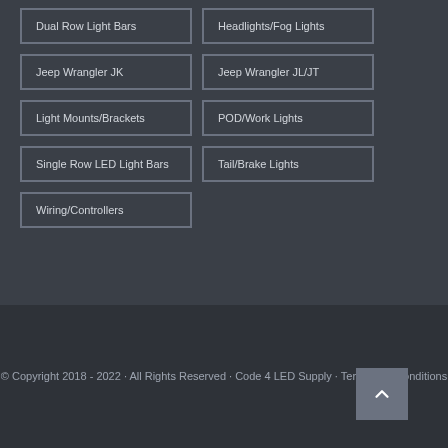Dual Row Light Bars
Headlights/Fog Lights
Jeep Wrangler JK
Jeep Wrangler JL/JT
Light Mounts/Brackets
POD/Work Lights
Single Row LED Light Bars
Tail/Brake Lights
Wiring/Controllers
© Copyright 2018 - 2022 · All Rights Reserved · Code 4 LED Supply · Terms and Conditions